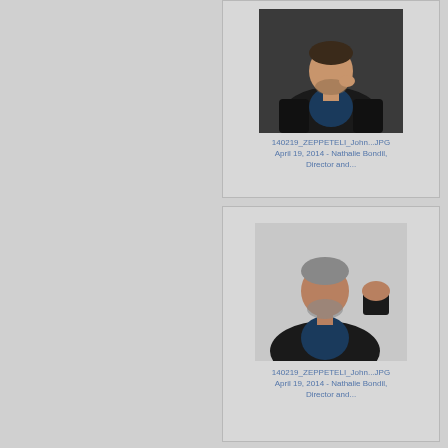[Figure (photo): Photo of a man in a dark suit with blue shirt, sitting pose, hand near face]
140219_ZEPPETELI_John...JPG
April 19, 2014 - Nathalie Bondil, Director and...
[Figure (photo): Photo of a man in a dark jacket with blue shirt, standing with raised fist, against grey background]
140219_ZEPPETELI_John...JPG
April 19, 2014 - Nathalie Bondil, Director and...
[Figure (photo): Partial photo at bottom of page, partially visible]